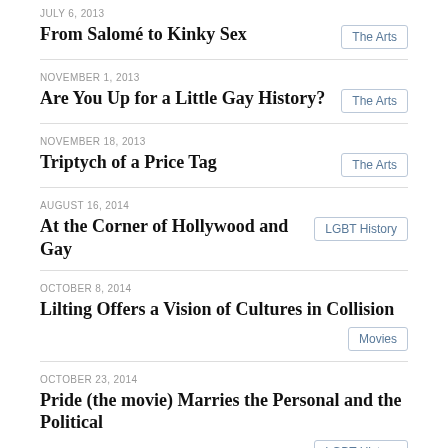JULY 6, 2013 — From Salomé to Kinky Sex — The Arts
NOVEMBER 1, 2013 — Are You Up for a Little Gay History? — The Arts
NOVEMBER 18, 2013 — Triptych of a Price Tag — The Arts
AUGUST 16, 2014 — At the Corner of Hollywood and Gay — LGBT History
OCTOBER 8, 2014 — Lilting Offers a Vision of Cultures in Collision — Movies
OCTOBER 23, 2014 — Pride (the movie) Marries the Personal and the Political — LGBT History
DECEMBER 10, 2014